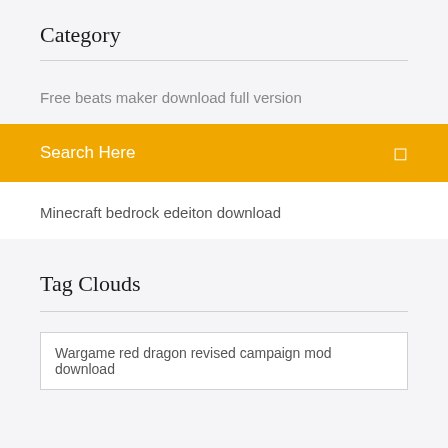Category
Free beats maker download full version
Search Here
Minecraft bedrock edeiton download
Tag Clouds
Wargame red dragon revised campaign mod download